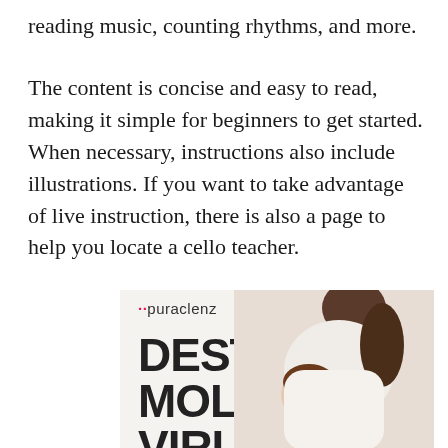reading music, counting rhythms, and more.
The content is concise and easy to read, making it simple for beginners to get started. When necessary, instructions also include illustrations. If you want to take advantage of live instruction, there is also a page to help you locate a cello teacher.
[Figure (illustration): Advertisement for Puraclenz product showing bold text 'DESTROY MOLD & VIRUSES. NOT YOUR' with a photo of a woman and child, and the Puraclenz logo.]